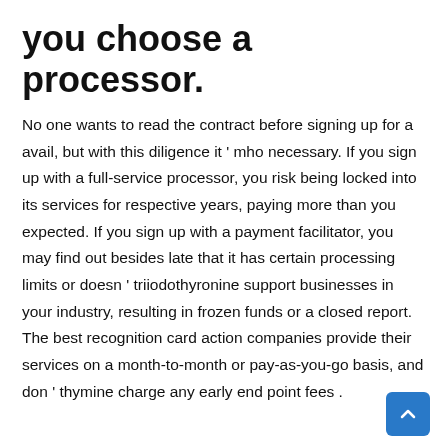you choose a processor.
No one wants to read the contract before signing up for a avail, but with this diligence it ' mho necessary. If you sign up with a full-service processor, you risk being locked into its services for respective years, paying more than you expected. If you sign up with a payment facilitator, you may find out besides late that it has certain processing limits or doesn ' triiodothyronine support businesses in your industry, resulting in frozen funds or a closed report. The best recognition card action companies provide their services on a month-to-month or pay-as-you-go basis, and don ' thymine charge any early end point fees .